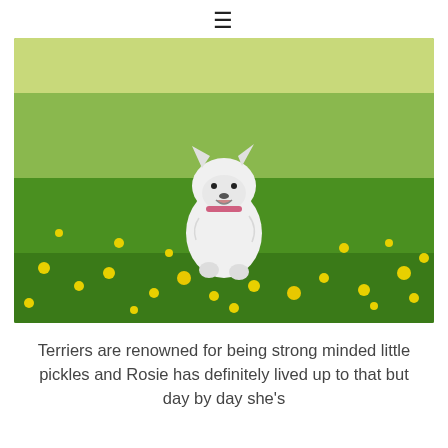≡
[Figure (photo): A small white West Highland Terrier puppy sitting in a green meadow filled with yellow buttercup flowers, wearing a pink collar, looking at the camera with mouth open.]
Terriers are renowned for being strong minded little pickles and Rosie has definitely lived up to that but day by day she's